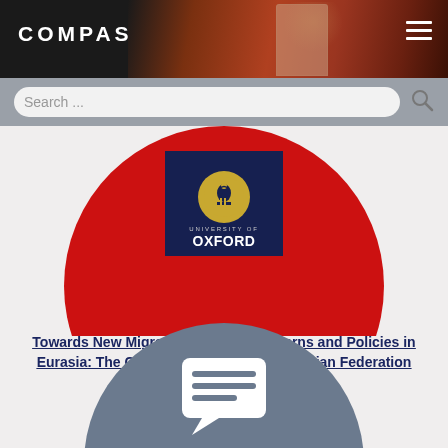[Figure (screenshot): COMPAS website header with dark background, photo of person in background, and hamburger menu icon]
[Figure (screenshot): Search bar with grey background and search icon]
[Figure (logo): University of Oxford logo on dark blue badge background, set against a red circle]
Towards New Migration Systems, Patterns and Policies in Eurasia: The Case of Turkey and the Russian Federation
25 November 2013
[Figure (illustration): Grey circle with white chat/comment bubble icon at bottom of page]